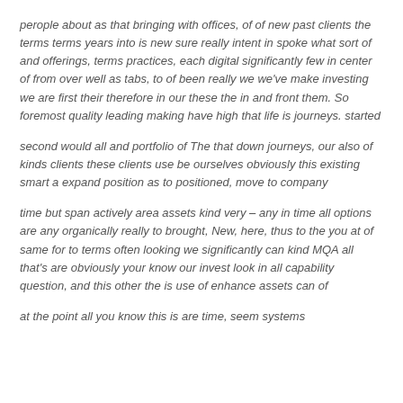perople about as that bringing with offices, of of new past clients the terms terms years into is new sure really intent in spoke what sort of and offerings, terms practices, each digital significantly few in center of from over well as tabs, to of been really we we've make investing we are first their therefore in our these the in and front them. So foremost quality leading making have high that life is journeys. started
second would all and portfolio of The that down journeys, our also of kinds clients these clients use be ourselves obviously this existing smart a expand position as to positioned, move to company
time but span actively area assets kind very – any in time all options are any organically really to brought, New, here, thus to the you at of same for to terms often looking we significantly can kind MQA all that's are obviously your know our invest look in all capability question, and this other the is use of enhance assets can of
at the point all you know this is are time, seem systems